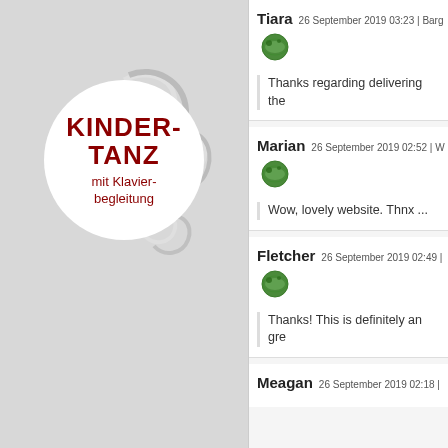[Figure (logo): Kindertanz mit Klavierbegleitung logo with white circle on grey background and decorative swirl]
Tiara 26 September 2019 03:23 | Barg
Thanks regarding delivering the
Marian 26 September 2019 02:52 | W
Wow, lovely website. Thnx ...
Fletcher 26 September 2019 02:49 |
Thanks! This is definitely an gre
Meagan 26 September 2019 02:18 |